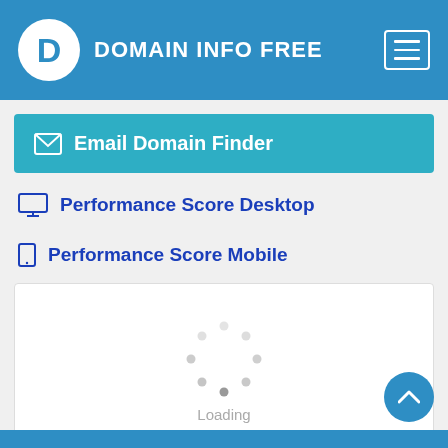DOMAIN INFO FREE
Email Domain Finder
Performance Score Desktop
Performance Score Mobile
[Figure (other): Loading spinner with dots arranged in a circle and 'Loading' text below]